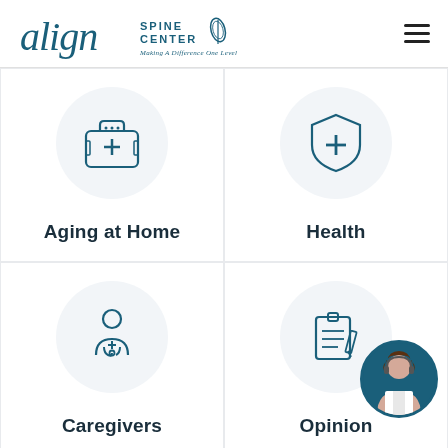[Figure (logo): Align Spine Center logo with tagline 'Making A Difference One Level At A Time']
[Figure (illustration): Grid of four category icons: Aging at Home (medical bag), Health (shield with cross), Caregivers (doctor figure), Opinion (clipboard with pencil)]
Aging at Home
Health
Caregivers
Opinion